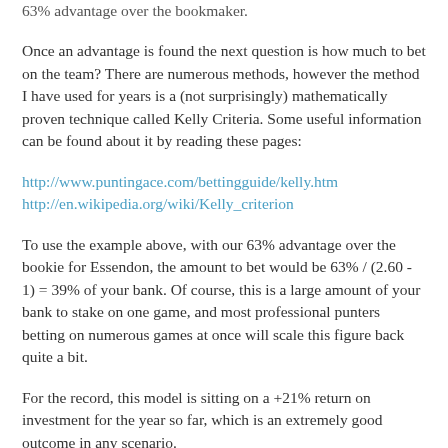63% advantage over the bookmaker.
Once an advantage is found the next question is how much to bet on the team? There are numerous methods, however the method I have used for years is a (not surprisingly) mathematically proven technique called Kelly Criteria. Some useful information can be found about it by reading these pages:
http://www.puntingace.com/bettingguide/kelly.htm
http://en.wikipedia.org/wiki/Kelly_criterion
To use the example above, with our 63% advantage over the bookie for Essendon, the amount to bet would be 63% / (2.60 - 1) = 39% of your bank. Of course, this is a large amount of your bank to stake on one game, and most professional punters betting on numerous games at once will scale this figure back quite a bit.
For the record, this model is sitting on a +21% return on investment for the year so far, which is an extremely good outcome in any scenario.